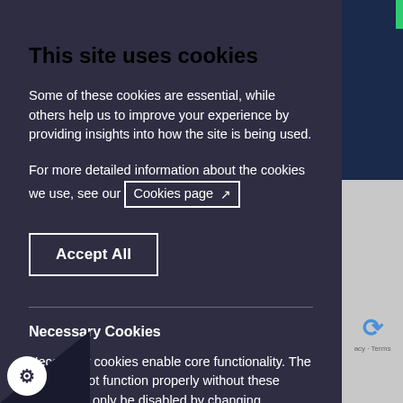This site uses cookies
Some of these cookies are essential, while others help us to improve your experience by providing insights into how the site is being used.
For more detailed information about the cookies we use, see our Cookies page ↗
Accept All
Necessary Cookies
Necessary cookies enable core functionality. The website cannot function properly without these cookies, and can only be disabled by changing